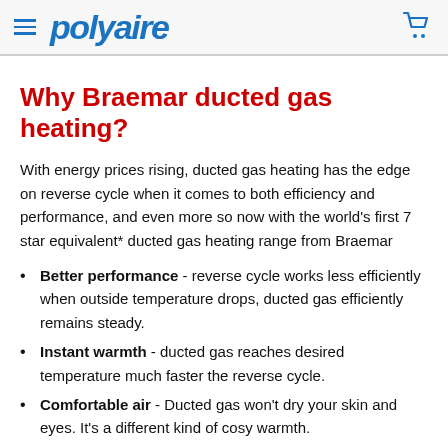polyaire
Why Braemar ducted gas heating?
With energy prices rising, ducted gas heating has the edge on reverse cycle when it comes to both efficiency and performance, and even more so now with the world's first 7 star equivalent* ducted gas heating range from Braemar
Better performance - reverse cycle works less efficiently when outside temperature drops, ducted gas efficiently remains steady.
Instant warmth - ducted gas reaches desired temperature much faster the reverse cycle.
Comfortable air - Ducted gas won't dry your skin and eyes. It's a different kind of cosy warmth.